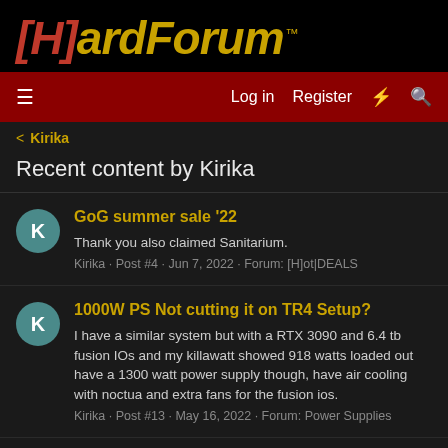[Figure (logo): [H]ardForum logo with red bracket and gold text on black background]
Log in  Register
< Kirika
Recent content by Kirika
GoG summer sale '22
Thank you also claimed Sanitarium.
Kirika · Post #4 · Jun 7, 2022 · Forum: [H]ot|DEALS
1000W PS Not cutting it on TR4 Setup?
I have a similar system but with a RTX 3090 and 6.4 tb fusion IOs and my killawatt showed 918 watts loaded out have a 1300 watt power supply though, have air cooling with noctua and extra fans for the fusion ios.
Kirika · Post #13 · May 16, 2022 · Forum: Power Supplies
Painless upgrade from esxi 6.7 to 7.0u3